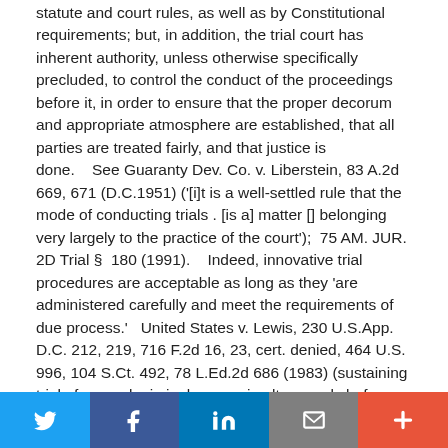statute and court rules, as well as by Constitutional requirements; but, in addition, the trial court has inherent authority, unless otherwise specifically precluded, to control the conduct of the proceedings before it, in order to ensure that the proper decorum and appropriate atmosphere are established, that all parties are treated fairly, and that justice is done.    See Guaranty Dev. Co. v. Liberstein, 83 A.2d 669, 671 (D.C.1951) ('[i]t is a well-settled rule that the mode of conducting trials . [is a] matter [] belonging very largely to the practice of the court');  75 AM. JUR. 2D Trial §  180 (1991).    Indeed, innovative trial procedures are acceptable as long as they 'are administered carefully and meet the requirements of due process.'   United States v. Lewis, 230 U.S.App. D.C. 212, 219, 716 F.2d 16, 23, cert. denied, 464 U.S. 996, 104 S.Ct. 492, 78 L.Ed.2d 686 (1983) (sustaining trial of several criminal cases simultaneously before two juries absent evidence indicating dual jury causes specific
Twitter | Facebook | LinkedIn | Email | More